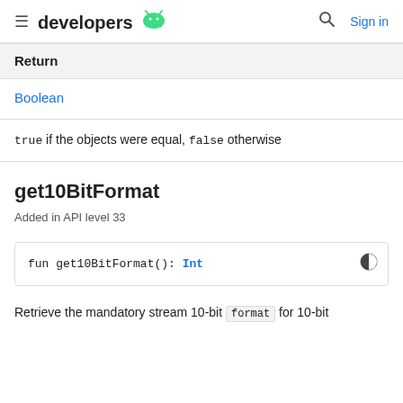developers
| Return |
| --- |
| Boolean |
true if the objects were equal, false otherwise
get10BitFormat
Added in API level 33
fun get10BitFormat(): Int
Retrieve the mandatory stream 10-bit format for 10-bit